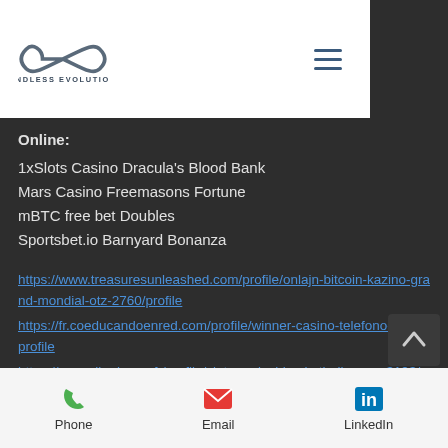[Figure (logo): Endless Evolution logo with infinity symbol and text]
Online:
1xSlots Casino Dracula's Blood Bank
Mars Casino Freemasons Fortune
mBTC free bet Doubles
Sportsbet.io Barnyard Bonanza
https://www.treasuresunleashed.com/profile/onlajn-bitcoin-kazino-grand-mondial-otz-2760/profile
https://fr.coeducandoenred.com/profile/winner-casino-telefono-8299/profile
https://www.dim-immo.fr/profile/slot-carnival-basketball-game-3193/profile
https://www.highlanderconstructionincorporated.com/profile/bitcoin-casino-flash-sassenheim-5712/profile
Phone   Email   LinkedIn